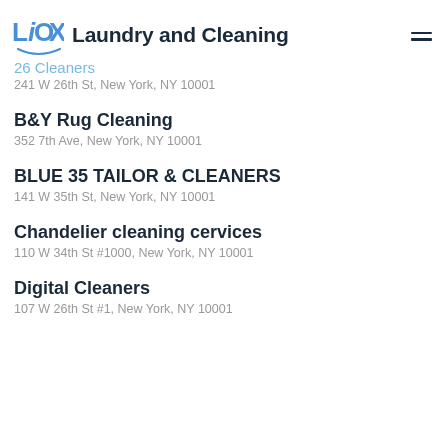Laundry and Cleaning
26 Cleaners
241 W 26th St, New York, NY 10001
B&Y Rug Cleaning
352 7th Ave, New York, NY 10001
BLUE 35 TAILOR & CLEANERS
141 W 35th St, New York, NY 10001
Chandelier cleaning cervices
110 W 34th St #1000, New York, NY 10001
Digital Cleaners
107 W 26th St #1, New York, NY 10001